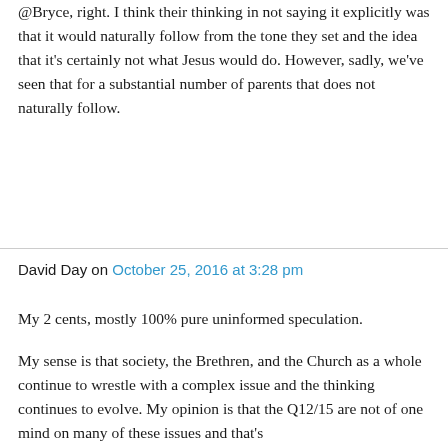@Bryce, right. I think their thinking in not saying it explicitly was that it would naturally follow from the tone they set and the idea that it's certainly not what Jesus would do. However, sadly, we've seen that for a substantial number of parents that does not naturally follow.
David Day on October 25, 2016 at 3:28 pm
My 2 cents, mostly 100% pure uninformed speculation.
My sense is that society, the Brethren, and the Church as a whole continue to wrestle with a complex issue and the thinking continues to evolve. My opinion is that the Q12/15 are not of one mind on many of these issues and that's